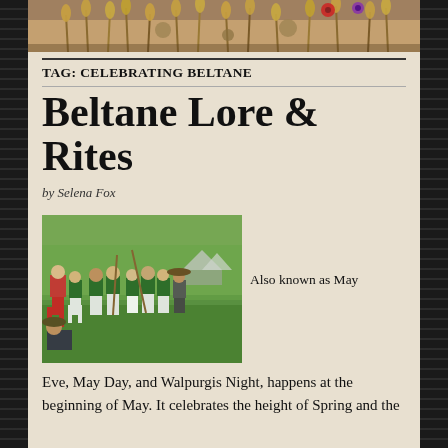[Figure (photo): Decorative header photo showing wheat, grains, and dried flowers/herbs in earthy tones]
TAG: CELEBRATING BELTANE
Beltane Lore & Rites
by Selena Fox
[Figure (photo): Outdoor photo of people dressed in folk costumes (green and white) dancing in a field, with trees and tents in background]
Also known as May Eve, May Day, and Walpurgis Night, happens at the beginning of May. It celebrates the height of Spring and the